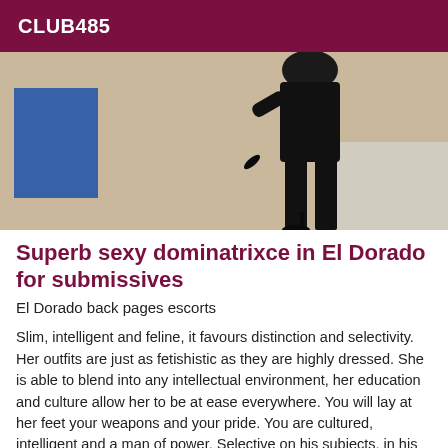CLUB485
[Figure (photo): Photo of a person in black leather outfit and high heels posing against a wall with a blue painted rectangle]
Superb sexy dominatrixce in El Dorado for submissives
El Dorado back pages escorts
Slim, intelligent and feline, it favours distinction and selectivity. Her outfits are just as fetishistic as they are highly dressed. She is able to blend into any intellectual environment, her education and culture allow her to be at ease everywhere. You will lay at her feet your weapons and your pride. You are cultured, intelligent and a man of power. Selective on his subjects, in his